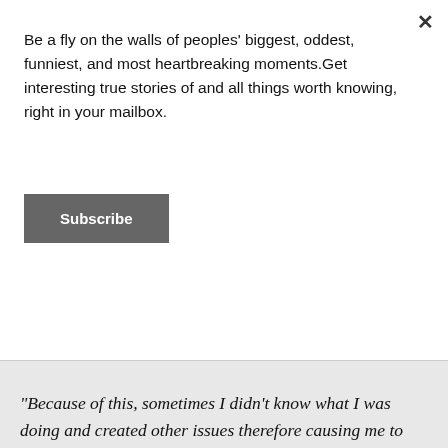Be a fly on the walls of peoples' biggest, oddest, funniest, and most heartbreaking moments.Get interesting true stories of and all things worth knowing, right in your mailbox.
Subscribe
"Because of this, sometimes I didn't know what I was doing and created other issues therefore causing me to spend more money. Cheap parts need to replaced way more often causing me to spend more money in the long run as opposed to buying a quality, long lasting part initially. And the car itself just broke down way more